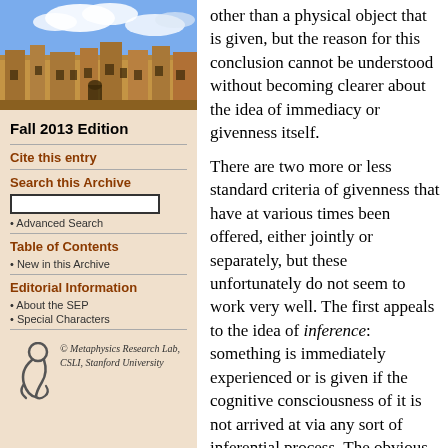[Figure (photo): Photograph of a university building (sandstone Gothic architecture) against a blue sky with clouds]
Fall 2013 Edition
Cite this entry
Search this Archive
Advanced Search
Table of Contents
New in this Archive
Editorial Information
About the SEP
Special Characters
[Figure (logo): Metaphysics Research Lab logo — stylized figure/symbol]
© Metaphysics Research Lab, CSLI, Stanford University
other than a physical object that is given, but the reason for this conclusion cannot be understood without becoming clearer about the idea of immediacy or givenness itself.

There are two more or less standard criteria of givenness that have at various times been offered, either jointly or separately, but these unfortunately do not seem to work very well. The first appeals to the idea of inference: something is immediately experienced or is given if the cognitive consciousness of it is not arrived at via any sort of inferential process. The obvious problem with this is that it